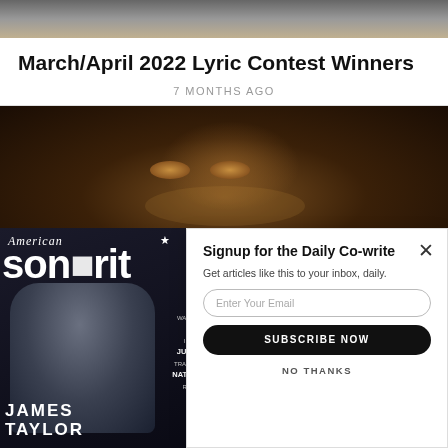[Figure (photo): Top portion of an image, appears to be an animal or person, cropped strip at the top of the page]
March/April 2022 Lyric Contest Winners
7 MONTHS AGO
[Figure (photo): Close-up photo of a woman's face with dramatic lighting, golden/amber tones, eyes prominent]
[Figure (photo): American Songwriter magazine cover featuring James Taylor. Magazine shows 'American Songwriter' masthead, partial text for RU WAINW, TAM IMPAL, JUSTI TRANTER, NATHA RATEL. JAMES TAYLOR displayed at bottom.]
[Figure (infographic): Email signup modal popup. Title: Signup for the Daily Co-write. Subtitle: Get articles like this to your inbox, daily. Input field: Enter Your Email. Button: SUBSCRIBE NOW. Link: NO THANKS. Close X button in top right.]